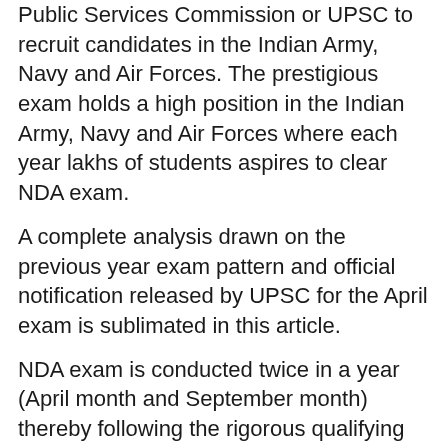Public Services Commission or UPSC to recruit candidates in the Indian Army, Navy and Air Forces. The prestigious exam holds a high position in the Indian Army, Navy and Air Forces where each year lakhs of students aspires to clear NDA exam.
A complete analysis drawn on the previous year exam pattern and official notification released by UPSC for the April exam is sublimated in this article.
NDA exam is conducted twice in a year (April month and September month) thereby following the rigorous qualifying procedure for final selection in Indian Armed Forces.
Male candidates are eligible
NDA 2020 syllabus is based on CBSE 10+2 standards.
10+2 appearing or passed candidates can apply for NDA exam
The exam will be conducted in offline mode (pen and paper-based).